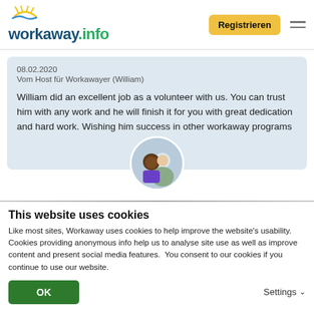[Figure (logo): workaway.info logo with sun icon]
Registrieren
08.02.2020
Vom Host für Workawayer (William)
William did an excellent job as a volunteer with us. You can trust him with any work and he will finish it for you with great dedication and hard work. Wishing him success in other workaway programs
[Figure (photo): Circular avatar photo showing two people]
This website uses cookies
Like most sites, Workaway uses cookies to help improve the website's usability. Cookies providing anonymous info help us to analyse site use as well as improve content and present social media features.  You consent to our cookies if you continue to use our website.
OK
Settings